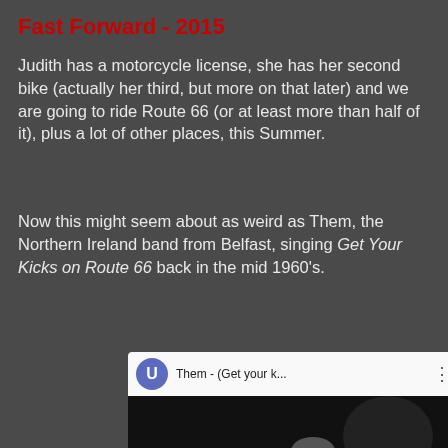Fast Forward - 2015
Judith has a motorcycle license, she has her second bike (actually her third, but more on that later) and we are going to ride Route 66 (or at least more than half of it), plus a lot of other places, this Summer.
Now this might seem about as weird as Them, the Northern Ireland band from Belfast, singing Get Your Kicks on Route 66 back in the mid 1960's.
[Figure (screenshot): YouTube video embed showing 'Them - (Get your k...' with a user avatar 'U', three-dot menu, and a play button over a black-and-white thumbnail of a drummer performing on stage.]